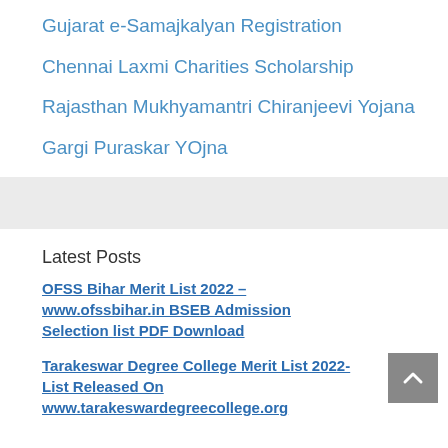Gujarat e-Samajkalyan Registration
Chennai Laxmi Charities Scholarship
Rajasthan Mukhyamantri Chiranjeevi Yojana
Gargi Puraskar YOjna
Latest Posts
OFSS Bihar Merit List 2022 – www.ofssbihar.in BSEB Admission Selection list PDF Download
Tarakeswar Degree College Merit List 2022- List Released On www.tarakeswardegrecollege.org